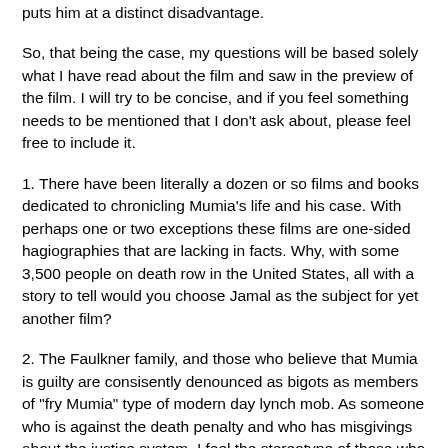puts him at a distinct disadvantage.
So, that being the case, my questions will be based solely what I have read about the film and saw in the preview of the film. I will try to be concise, and if you feel something needs to be mentioned that I don't ask about, please feel free to include it.
1. There have been literally a dozen or so films and books dedicated to chronicling Mumia's life and his case. With perhaps one or two exceptions these films are one-sided hagiographies that are lacking in facts. Why, with some 3,500 people on death row in the United States, all with a story to tell would you choose Jamal as the subject for yet another film?
2. The Faulkner family, and those who believe that Mumia is guilty are consisently denounced as bigots as members of "fry Mumia" type of modern day lynch mob. As someone who is against the death penalty and who has misgivings about the justice system, I feel the stereotype of those who support the Faulkner family is offensive and disingenuous. In your film, how are opponents of Jamal regarded and who in your